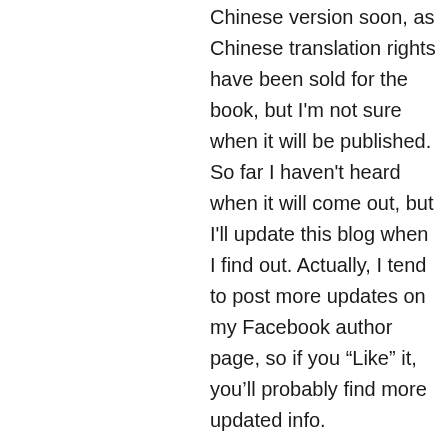Chinese version soon, as Chinese translation rights have been sold for the book, but I'm not sure when it will be published. So far I haven't heard when it will come out, but I'll update this blog when I find out. Actually, I tend to post more updates on my Facebook author page, so if you “Like” it, you'll probably find more updated info.